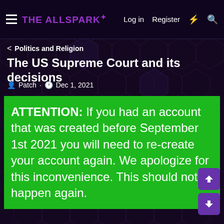THE ALLSPARK | Log in  Register
< Politics and Religion
The US Supreme Court and its decisions
Patch · Dec 1, 2021
ATTENTION: If you had an account that was created before September 1st 2021 you will need to re-create your account again. We apologize for this inconvenience. This should not happen again.